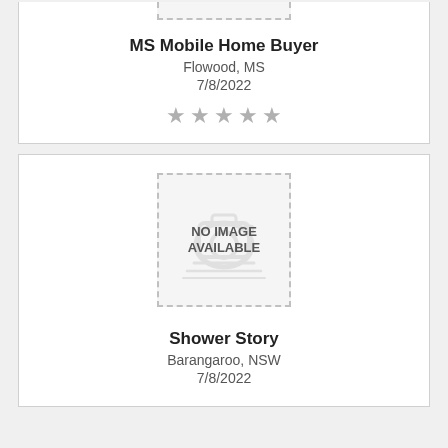[Figure (other): No image available placeholder (partial top) for MS Mobile Home Buyer listing]
MS Mobile Home Buyer
Flowood, MS
7/8/2022
[Figure (other): 5-star rating display (all stars grey/empty)]
[Figure (other): No image available placeholder for Shower Story listing]
Shower Story
Barangaroo, NSW
7/8/2022